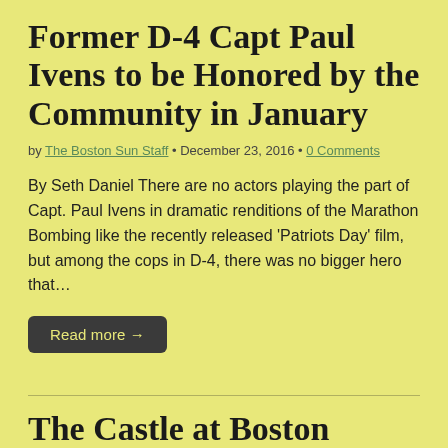Former D-4 Capt Paul Ivens to be Honored by the Community in January
by The Boston Sun Staff • December 23, 2016 • 0 Comments
By Seth Daniel There are no actors playing the part of Capt. Paul Ivens in dramatic renditions of the Marathon Bombing like the recently released 'Patriots Day' film, but among the cops in D-4, there was no bigger hero that…
Read more →
The Castle at Boston University Will Soon Get a Major Face-Lift